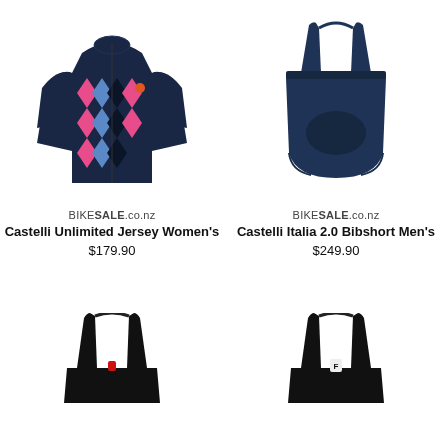[Figure (photo): Castelli Unlimited Jersey Women's — dark navy cycling jersey with pink, blue, and black chevron/zigzag geometric pattern, short sleeves, full zip]
BIKESALE.co.nz
Castelli Unlimited Jersey Women's
$179.90
[Figure (photo): Castelli Italia 2.0 Bibshort Men's — dark navy cycling bib shorts with straps, minimalist solid color]
BIKESALE.co.nz
Castelli Italia 2.0 Bibshort Men's
$249.90
[Figure (photo): Black cycling bib shorts with red accent, partial view cropped at bottom of page]
[Figure (photo): Black cycling bib shorts, partial view cropped at bottom of page]